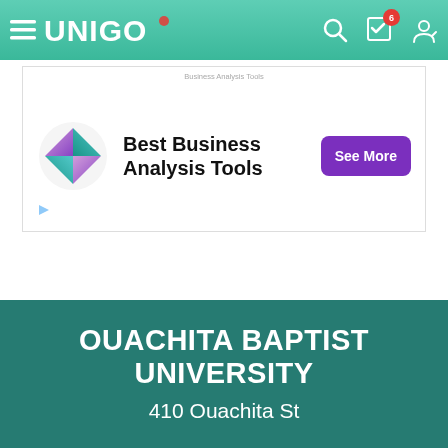UNIGO
[Figure (screenshot): Advertisement banner for Best Business Analysis Tools with purple logo, bold text, and a 'See More' purple button]
OUACHITA BAPTIST UNIVERSITY
410 Ouachita St